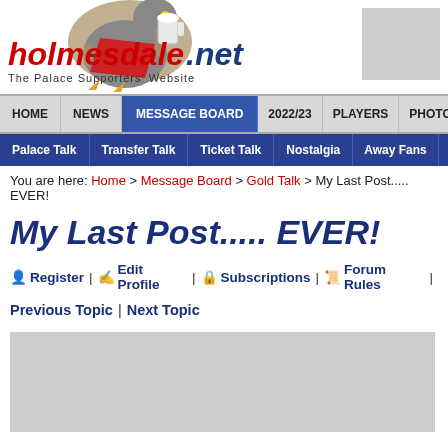[Figure (logo): Holmesdale.net logo with eagle mascot holding beer mug]
HOME | NEWS | MESSAGE BOARD | 2022/23 | PLAYERS | PHOTOS
Palace Talk | Transfer Talk | Ticket Talk | Nostalgia | Away Fans | News/Politics
You are here: Home > Message Board > Gold Talk > My Last Post..... EVER!
My Last Post..... EVER!
Register | Edit Profile | Subscriptions | Forum Rules |
Previous Topic | Next Topic
[Figure (other): Advertisement banner placeholder]